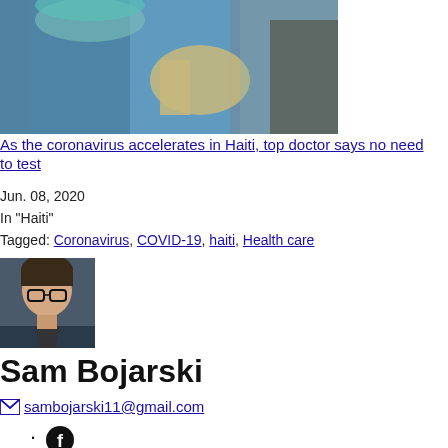[Figure (photo): Healthcare worker in blue protective gear examining a patient]
As the coronavirus accelerates in Haiti, top doctor says no need to test
Jun. 08, 2020
In "Haiti"
Tagged: Coronavirus, COVID-19, haiti, Health care
[Figure (photo): Headshot of Sam Bojarski, a man with glasses]
Sam Bojarski
sambojarski11@gmail.com
Facebook icon
Twitter icon